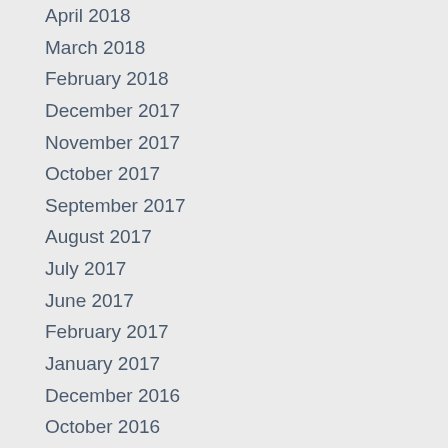April 2018
March 2018
February 2018
December 2017
November 2017
October 2017
September 2017
August 2017
July 2017
June 2017
February 2017
January 2017
December 2016
October 2016
September 2016
August 2016
July 2016